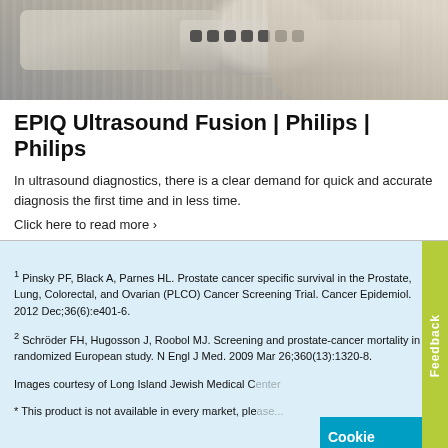[Figure (photo): Close-up photo of hands operating an ultrasound device with control buttons visible]
EPIQ Ultrasound Fusion | Philips | Philips
In ultrasound diagnostics, there is a clear demand for quick and accurate diagnosis the first time and in less time.
Click here to read more ›
¹ Pinsky PF, Black A, Parnes HL. Prostate cancer specific survival in the Prostate, Lung, Colorectal, and Ovarian (PLCO) Cancer Screening Trial. Cancer Epidemiol. 2012 Dec;36(6):e401-6.
² Schröder FH, Hugosson J, Roobol MJ. Screening and prostate-cancer mortality in a randomized European study. N Engl J Med. 2009 Mar 26;360(13):1320-8.
Images courtesy of Long Island Jewish Medical Center
* This product is not available in every market, ple...